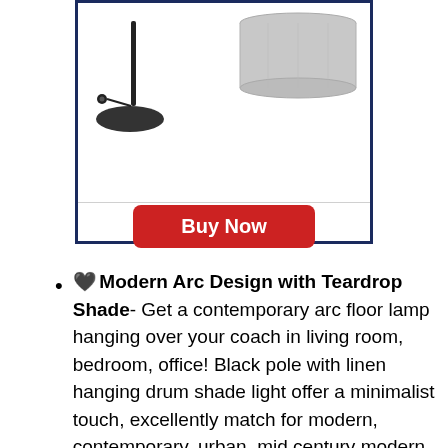[Figure (photo): Product image showing a black arc floor lamp base with cord on the left, and a grey linen drum lampshade on the right, displayed inside a dark navy bordered box.]
Buy Now
🖤 Modern Arc Design with Teardrop Shade - Get a contemporary arc floor lamp hanging over your coach in living room, bedroom, office! Black pole with linen hanging drum shade light offer a minimalist touch, excellently match for modern, contemporary, urban, mid century modern, minimalist, vintage, traditional and industrial, vintage, mid